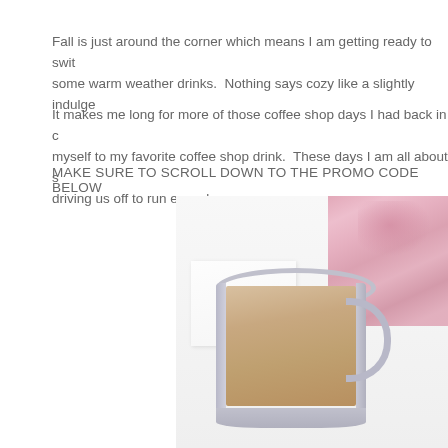Fall is just around the corner which means I am getting ready to switch up some warm weather drinks.  Nothing says cozy like a slightly indulge
It makes me long for more of those coffee shop days I had back in c... myself to my favorite coffee shop drink.  These days I am all about s... driving us off to run errands.
MAKE SURE TO SCROLL DOWN TO THE PROMO CODE BELOW
[Figure (photo): A glass coffee mug filled with a light creamy coffee drink, placed in front of a pink patterned cloth or fabric, on a light background.]